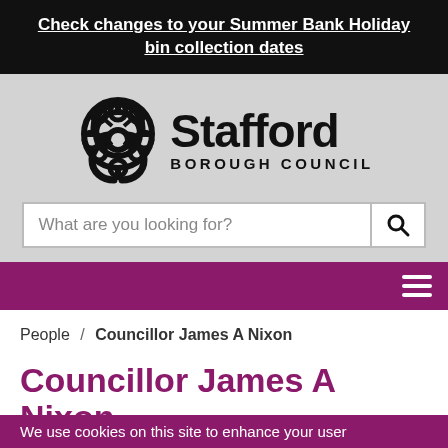Check changes to your Summer Bank Holiday bin collection dates
[Figure (logo): Stafford Borough Council logo with Celtic knot emblem and text 'Stafford BOROUGH COUNCIL']
What are you looking for? [search bar]
People / Councillor James A Nixon
Councillor James A Nixon
We use cookies on this site to enhance your user